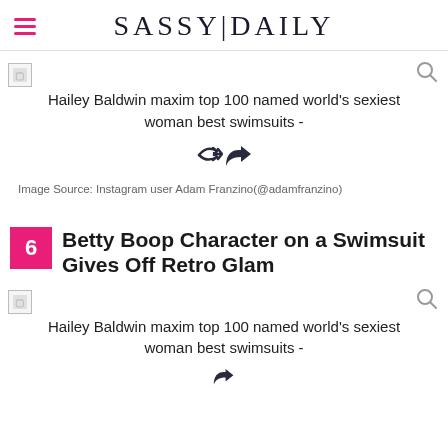SASSY|DAILY
[Figure (photo): Article thumbnail image placeholder for Hailey Baldwin article]
Hailey Baldwin maxim top 100 named world’s sexiest woman best swimsuits -
[Figure (other): Share icon (forward arrow)]
Image Source: Instagram user Adam Franzino(@adamfranzino)
6  Betty Boop Character on a Swimsuit Gives Off Retro Glam
[Figure (photo): Article thumbnail image placeholder for Hailey Baldwin article (second)]
Hailey Baldwin maxim top 100 named world’s sexiest woman best swimsuits -
[Figure (other): Share icon (forward arrow, partially visible)]